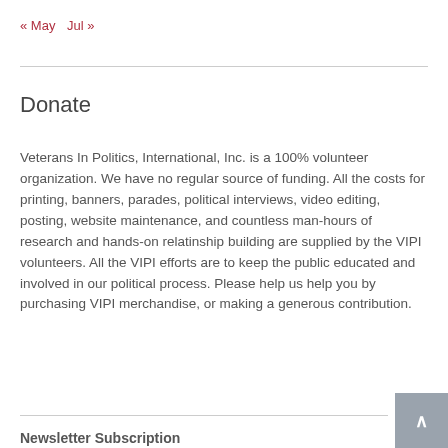« May   Jul »
Donate
Veterans In Politics, International, Inc. is a 100% volunteer organization. We have no regular source of funding. All the costs for printing, banners, parades, political interviews, video editing, posting, website maintenance, and countless man-hours of research and hands-on relatinship building are supplied by the VIPI volunteers. All the VIPI efforts are to keep the public educated and involved in our political process. Please help us help you by purchasing VIPI merchandise, or making a generous contribution.
Donate Today!
Newsletter Subscription